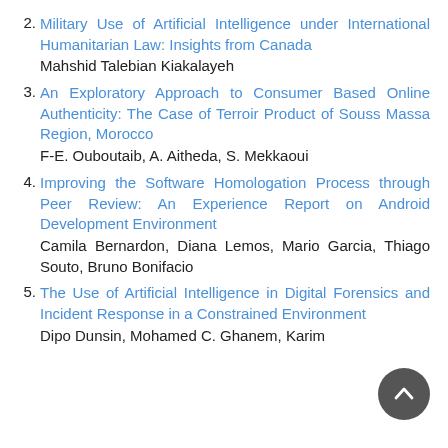2. Military Use of Artificial Intelligence under International Humanitarian Law: Insights from Canada
Mahshid Talebian Kiakalayeh
3. An Exploratory Approach to Consumer Based Online Authenticity: The Case of Terroir Product of Souss Massa Region, Morocco
F-E. Ouboutaib, A. Aitheda, S. Mekkaoui
4. Improving the Software Homologation Process through Peer Review: An Experience Report on Android Development Environment
Camila Bernardon, Diana Lemos, Mario Garcia, Thiago Souto, Bruno Bonifacio
5. The Use of Artificial Intelligence in Digital Forensics and Incident Response in a Constrained Environment
Dipo Dunsin, Mohamed C. Ghanem, Karim O...